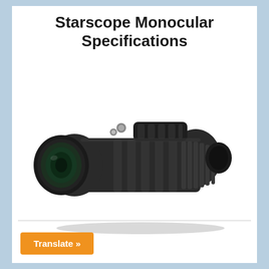Starscope Monocular Specifications
[Figure (photo): A black Starscope monocular device shown at an angle, displaying the objective lens on the left side and the eyepiece on the right, with rubberized grip panels along the barrel and a focus adjustment dial on top.]
Translate »